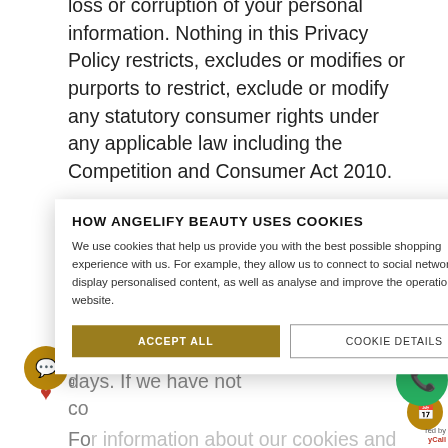loss or corruption of your personal information. Nothing in this Privacy Policy restricts, excludes or modifies or purports to restrict, exclude or modify any statutory consumer rights under any applicable law including the Competition and Consumer Act 2010.
If you are in Australia, you may submit a complaint to our Data Protection Officer
who will come back to you within 30 days. If we have not co...
yo... ou m... In...
[Figure (screenshot): Cookie consent popup modal. Title: 'HOW ANGELIFY BEAUTY USES COOKIES'. Body text describing cookie usage. Two buttons: 'ACCEPT ALL' (gold/olive background) and 'COOKIE DETAILS' (white with border).]
For information about our cookies and website track or...